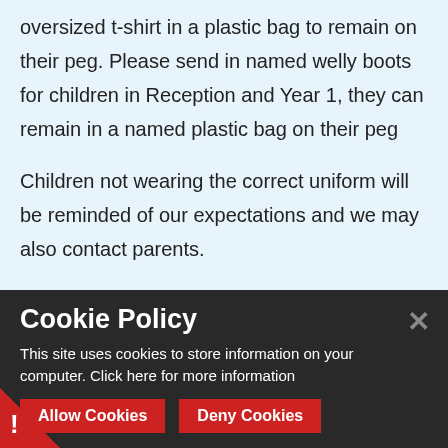oversized t-shirt in a plastic bag to remain on their peg. Please send in named welly boots for children in Reception and Year 1, they can remain in a named plastic bag on their peg
Children not wearing the correct uniform will be reminded of our expectations and we may also contact parents.
If there is any reason correct uniform cannot be worn, please put a note in the planner or
Cookie Policy
This site uses cookies to store information on your computer. Click here for more information
Allow Cookies
Deny Cookies